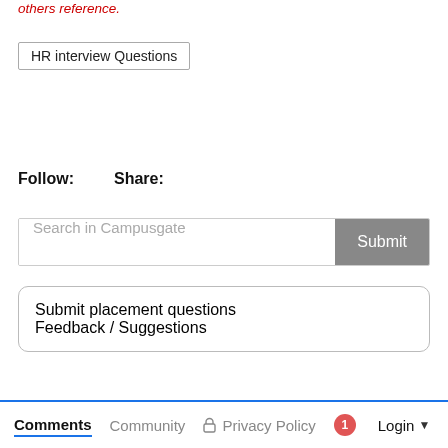others reference.
HR interview Questions
Follow:    Share:
Search in Campusgate
Submit placement questions
Feedback / Suggestions
Comments  Community  Privacy Policy  1  Login